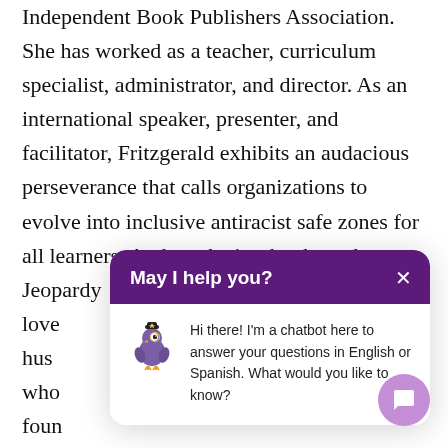Independent Book Publishers Association. She has worked as a teacher, curriculum specialist, administrator, and director. As an international speaker, presenter, and facilitator, Fritzgerald exhibits an audacious perseverance that calls organizations to evolve into inclusive antiracist safe zones for all learners. Andratesha is a book nerd, Jeop[ardy expert] who love[s...] her hus[band...] cators who[...] e is the foun[der of...] Edu[cation...] information, go to
[Figure (screenshot): Chatbot popup overlay with purple header saying 'May I help you?' with an X close button, a bird mascot icon, and message text: 'Hi there! I'm a chatbot here to answer your questions in English or Spanish. What would you like to know?']